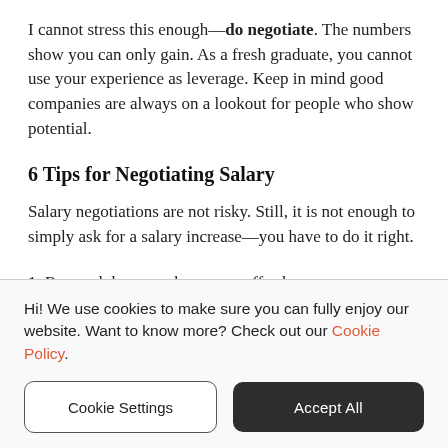I cannot stress this enough—do negotiate. The numbers show you can only gain. As a fresh graduate, you cannot use your experience as leverage. Keep in mind good companies are always on a lookout for people who show potential.
6 Tips for Negotiating Salary
Salary negotiations are not risky. Still, it is not enough to simply ask for a salary increase—you have to do it right.
1. Research...
Hi! We use cookies to make sure you can fully enjoy our website. Want to know more? Check out our Cookie Policy.